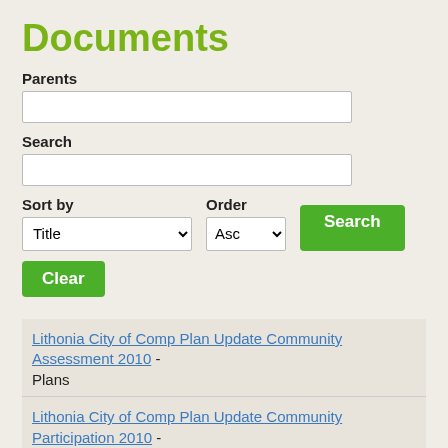Documents
Parents
Search
Sort by / Order / Search
Clear
Lithonia City of Comp Plan Update Community Assessment 2010 - Plans
Lithonia City of Comp Plan Update Community Participation 2010 - Plans